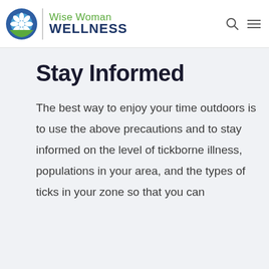Wise Woman WELLNESS
Stay Informed
The best way to enjoy your time outdoors is to use the above precautions and to stay informed on the level of tickborne illness, populations in your area, and the types of ticks in your zone so that you can